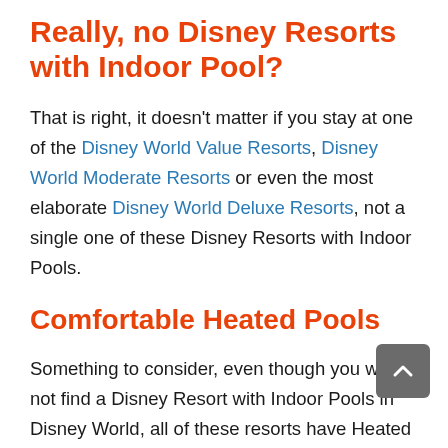Really, no Disney Resorts with Indoor Pool?
That is right, it doesn't matter if you stay at one of the Disney World Value Resorts, Disney World Moderate Resorts or even the most elaborate Disney World Deluxe Resorts, not a single one of these Disney Resorts with Indoor Pools.
Comfortable Heated Pools
Something to consider, even though you will not find a Disney Resort with Indoor Pools in Disney World, all of these resorts have Heated Pools. They do this to regulate the water temperature throughout the year.